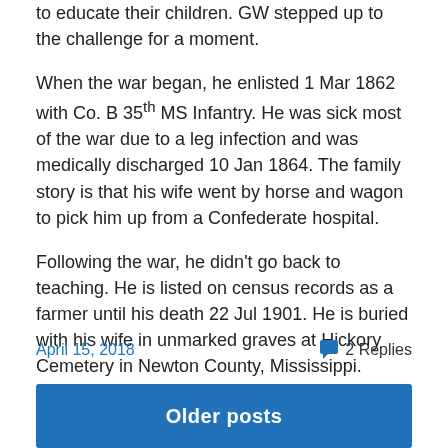to educate their children. GW stepped up to the challenge for a moment.
When the war began, he enlisted 1 Mar 1862 with Co. B 35th MS Infantry. He was sick most of the war due to a leg infection and was medically discharged 10 Jan 1864. The family story is that his wife went by horse and wagon to pick him up from a Confederate hospital.
Following the war, he didn't go back to teaching. He is listed on census records as a farmer until his death 22 Jul 1901. He is buried with his wife in unmarked graves at Hickory Cemetery in Newton County, Mississippi.
April 15, 2018
2 Replies
Older posts